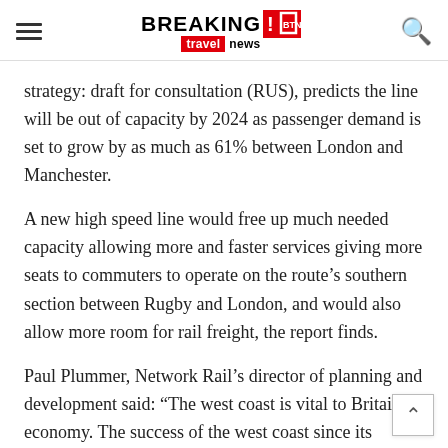BREAKING travel news
strategy: draft for consultation (RUS), predicts the line will be out of capacity by 2024 as passenger demand is set to grow by as much as 61% between London and Manchester.
A new high speed line would free up much needed capacity allowing more and faster services giving more seats to commuters to operate on the route’s southern section between Rugby and London, and would also allow more room for rail freight, the report finds.
Paul Plummer, Network Rail’s director of planning and development said: “The west coast is vital to Britain’s economy. The success of the west coast since its modernisation has brought many challenges, and ou